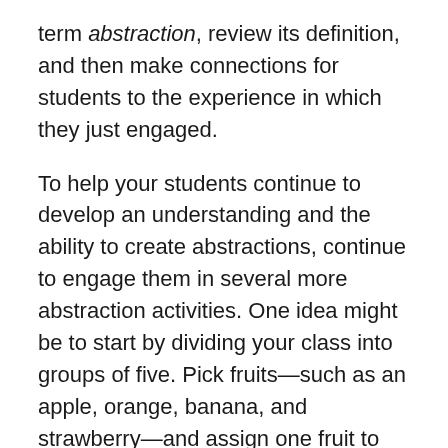term abstraction, review its definition, and then make connections for students to the experience in which they just engaged.
To help your students continue to develop an understanding and the ability to create abstractions, continue to engage them in several more abstraction activities. One idea might be to start by dividing your class into groups of five. Pick fruits—such as an apple, orange, banana, and strawberry—and assign one fruit to each group. Within the groups, assign each student one of the five senses: touch, smell, sight, sound, and taste. Each student in the group has to write a paragraph describing the fruit. The restriction is that whichever